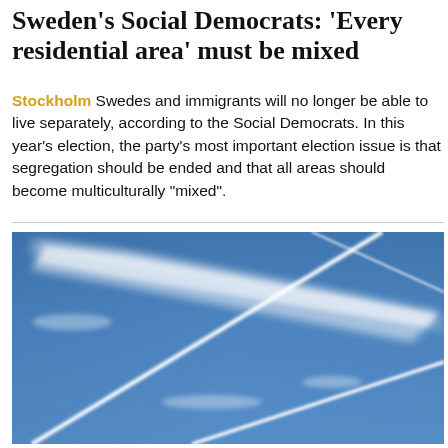Sweden's Social Democrats: 'Every residential area' must be mixed
Stockholm Swedes and immigrants will no longer be able to live separately, according to the Social Democrats. In this year's election, the party's most important election issue is that segregation should be ended and that all areas should become multiculturally "mixed".
[Figure (photo): Photo of blue sky with aircraft contrails crossing each other in an X pattern, with one contrail dispersing into a wider cloud-like streak.]